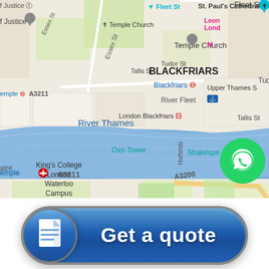[Figure (map): Google Maps screenshot showing the area around Blackfriars, London, including the River Thames, London Blackfriars station, Oxo Tower, King's College London Waterloo Campus, Temple Church, St. Paul's Cathedral, and a WhatsApp green circle button overlay.]
[Figure (infographic): A blue rounded-rectangle 'Get a quote' button with a document icon on the left side in a circular badge.]